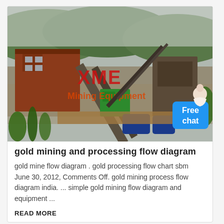[Figure (photo): Aerial/elevated view of gold mining dredge equipment on a river, with rust-colored barges, conveyor systems, cranes, and heavy machinery. Green hills visible in background. XME Mining Equipment watermark overlay in red/green text. 'Free chat' blue button with avatar in bottom right corner.]
gold mining and processing flow diagram
gold mine flow diagram . gold processing flow chart sbm June 30, 2012, Comments Off. gold mining process flow diagram india. ... simple gold mining flow diagram and equipment ...
READ MORE